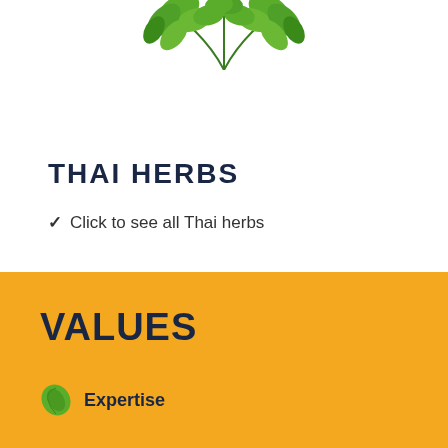[Figure (photo): Green herb leaves (parsley or coriander) partially visible at the top of the page against a white background]
THAI HERBS
Click to see all Thai herbs
VALUES
Expertise